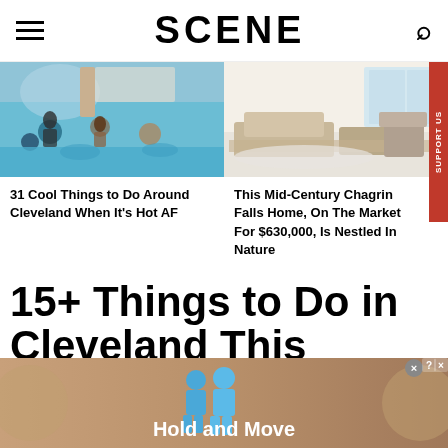SCENE
[Figure (photo): Water park / pool scene with people swimming]
[Figure (photo): Mid-century modern home interior with living room]
31 Cool Things to Do Around Cleveland When It's Hot AF
This Mid-Century Chagrin Falls Home, On The Market For $630,000, Is Nestled In Nature
15+ Things to Do in Cleveland This
[Figure (screenshot): Advertisement banner with 'Hold and Move' text and human figures icons]